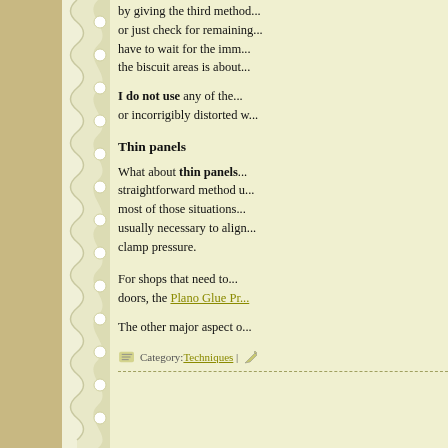by giving the third method... or just check for remaining... have to wait for the imm... the biscuit areas is about...
I do not use any of the ... or incorrigibly distorted w...
Thin panels
What about thin panels... straightforward method u... most of those situations.... usually necessary to alig... clamp pressure.
For shops that need to... doors, the Plano Glue Pr...
The other major aspect o...
Category: Techniques |